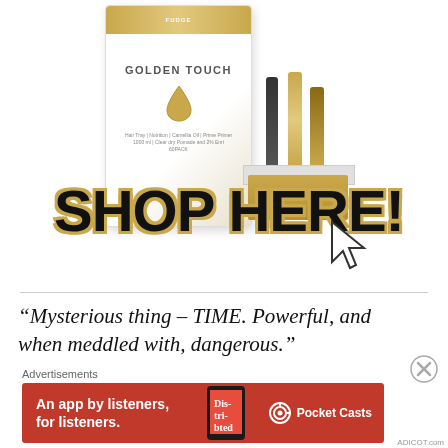[Figure (photo): Product advertisement showing Golden Touch hair care gift set box and a gold/white product display stand with multiple product bottles. Large bold text 'SHOP HERE!' with mouse cursor arrow overlay.]
“Mysterious thing – TIME. Powerful, and when meddled with, dangerous.”
Advertisements
[Figure (photo): Pocket Casts app advertisement banner in red: 'An app by listeners, for listeners.' with app screenshot and Pocket Casts logo.]